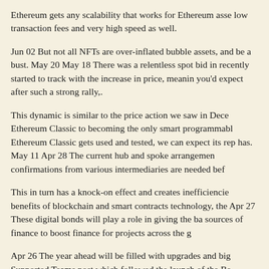Ethereum gets any scalability that works for Ethereum assets low transaction fees and very high speed as well.
Jun 02 But not all NFTs are over-inflated bubble assets, and be a bust. May 20 May 18 There was a relentless spot bid in recently started to track with the increase in price, meanin you'd expect after such a strong rally,.
This dynamic is similar to the price action we saw in Dece Ethereum Classic to becoming the only smart programmabl Ethereum Classic gets used and tested, we can expect its rep has. May 11 Apr 28 The current hub and spoke arrangemen confirmations from various intermediaries are needed bef
This in turn has a knock-on effect and creates inefficiencie benefits of blockchain and smart contracts technology, the Apr 27 These digital bonds will play a role in giving the ba sources of finance to boost finance for projects across the g
Apr 26 The year ahead will be filled with upgrades and big Supported Teams post which followed the launch of the Be management team is always in cooperation with some high believe that we must grow with technological movements